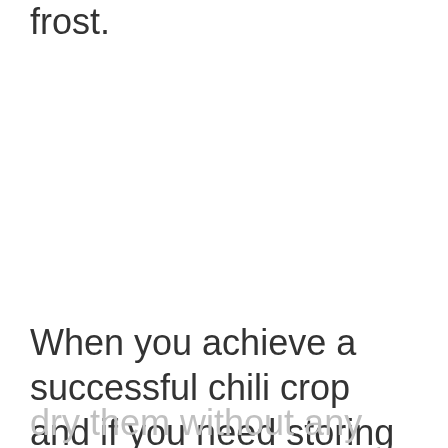frost.
When you achieve a successful chili crop and if you need storing them for future, it is possible to freeze or
dry them without any problem. They